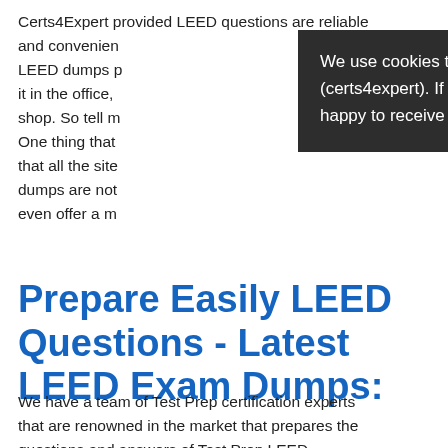Certs4Expert provided LEED questions are reliable and convenient LEED dumps p it in the office, shop. So tell m One thing that that all the site dumps are not even offer a m
[Figure (screenshot): Cookie consent modal popup with dark background. Close button (×) in top right. Text reads: We use cookies to ensure that we give you the best experience on our website (certs4expert). If you continue without changing your settings, we'll assume that you are happy to receive all cookies on the certs4expert.]
Prepare Easily LEED Questions - Latest LEED Exam Dumps:
We have a team of Test Prep certification experts that are renowned in the market that prepares the questions and answers of Test Prep LEED